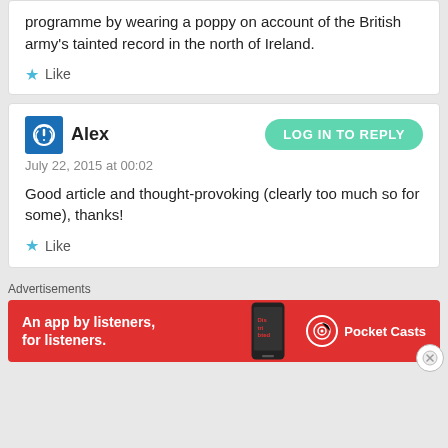programme by wearing a poppy on account of the British army's tainted record in the north of Ireland.
Like
Alex
LOG IN TO REPLY
July 22, 2015 at 00:02
Good article and thought-provoking (clearly too much so for some), thanks!
Like
Advertisements
[Figure (infographic): Pocket Casts advertisement banner: red background with text 'An app by listeners, for listeners.' alongside a phone image and Pocket Casts logo]